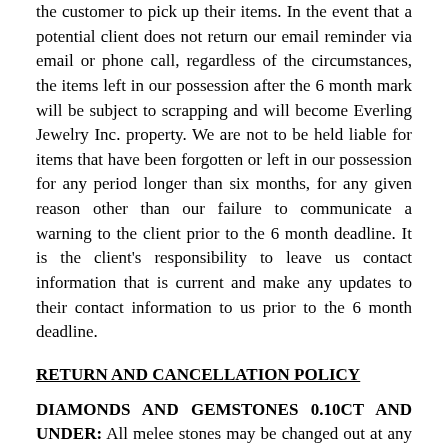the customer to pick up their items. In the event that a potential client does not return our email reminder via email or phone call, regardless of the circumstances, the items left in our possession after the 6 month mark will be subject to scrapping and will become Everling Jewelry Inc. property. We are not to be held liable for items that have been forgotten or left in our possession for any period longer than six months, for any given reason other than our failure to communicate a warning to the client prior to the 6 month deadline. It is the client's responsibility to leave us contact information that is current and make any updates to their contact information to us prior to the 6 month deadline.
RETURN AND CANCELLATION POLICY
DIAMONDS AND GEMSTONES 0.10CT AND UNDER: All melee stones may be changed out at any time prior to setting them in the jewelry item. Once the stones have been set in the metal, clients will no longer be able to make changes to the